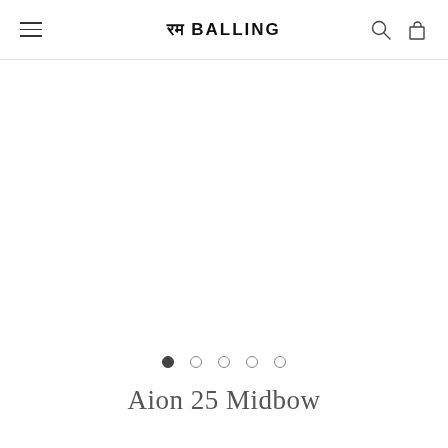रम BALLING
[Figure (other): Large blank white product image area (product image not visible)]
• ○ ○ ○ ○ (image carousel dots, first active)
Aion 25 Midbow